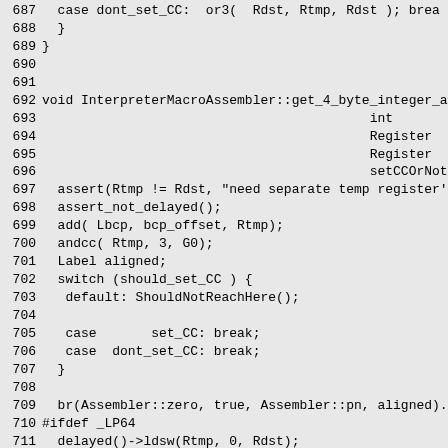687   case dont_set_CC:  or3(  Rdst, Rtmp, Rdst ); brea
688   }
689 }
690
691
692 void InterpreterMacroAssembler::get_4_byte_integer_a
693                                           int        bcp_off
694                                           Register   Rtmp,
695                                           Register   Rdst,
696                                           setCCOrNot should_
697   assert(Rtmp != Rdst, "need separate temp register'
698   assert_not_delayed();
699   add( Lbcp, bcp_offset, Rtmp);
700   andcc( Rtmp, 3, G0);
701   Label aligned;
702   switch (should_set_CC ) {
703    default: ShouldNotReachHere();
704
705    case       set_CC: break;
706    case  dont_set_CC: break;
707   }
708
709   br(Assembler::zero, true, Assembler::pn, aligned).
710 #ifdef _LP64
711   delayed()->ldsw(Rtmp, 0, Rdst);
712 #else
713   delayed()->ld(Rtmp, 0, Rdst);
714 #endif
715
716   ldub(Lbcp, bcp_offset + 3, Rdst);